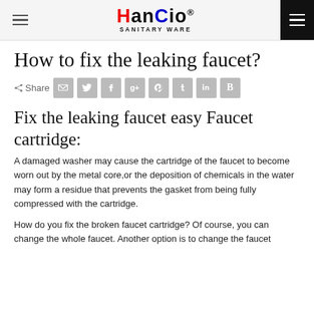HanCio® SANITARY WARE
How to fix the leaking faucet?
Share
Fix the leaking faucet easy Faucet cartridge:
A damaged washer may cause the cartridge of the faucet to become worn out by the metal core,or the deposition of chemicals in the water may form a residue that prevents the gasket from being fully compressed with the cartridge.
How do you fix the broken faucet cartridge? Of course, you can change the whole faucet. Another option is to change the faucet